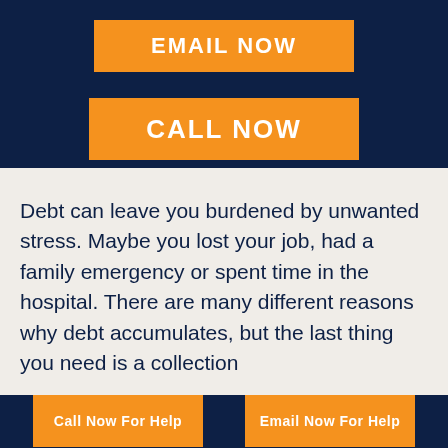[Figure (infographic): Dark navy background section with two orange call-to-action buttons: 'EMAIL NOW' and 'CALL NOW']
Debt can leave you burdened by unwanted stress. Maybe you lost your job, had a family emergency or spent time in the hospital. There are many different reasons why debt accumulates, but the last thing you need is a collection
[Figure (infographic): Dark navy footer bar with two orange buttons: 'Call Now For Help' and 'Email Now For Help']